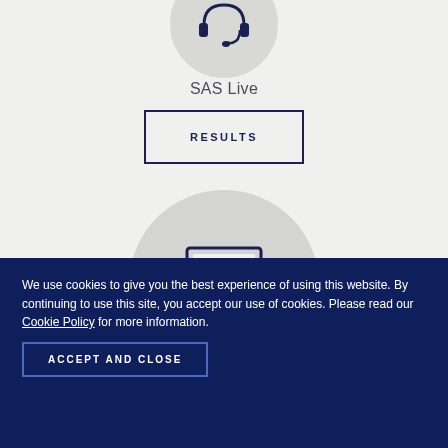[Figure (illustration): Circular icon with dark navy illustration of a headset/phone on a light gray circle background, partially cropped at top]
SAS Live
RESULTS
[Figure (illustration): Circular icon with dark navy illustration of a laptop/computer screen on a gray circle background]
We use cookies to give you the best experience of using this website. By continuing to use this site, you accept our use of cookies. Please read our Cookie Policy for more information.
ACCEPT AND CLOSE